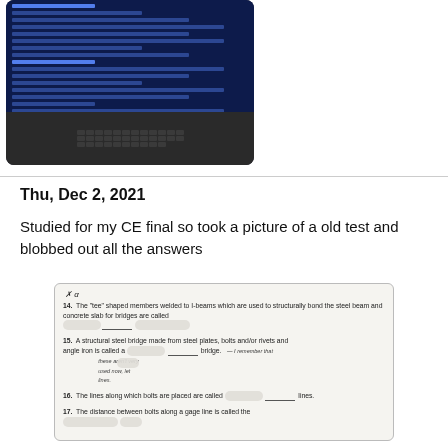[Figure (photo): Photo of a laptop showing code or terminal on screen, keyboard visible, sitting on a desk]
Thu, Dec 2, 2021
Studied for my CE final so took a picture of a old test and blobbed out all the answers
[Figure (photo): Photo of an old exam paper with questions 14-17 about civil engineering (bridge structures). Answers are blotted out with white blobs. Questions include: 14. The 'tee' shaped members welded to I-beams which are used to structurally bond the steel beam and concrete slab for bridges are called ___. 15. A structural steel bridge made from steel plates, bolts and/or rivets and angle iron is called a ___ bridge. 16. The lines along which bolts are placed are called ___ lines. 17. The distance between bolts along a gage line is called the ___. Handwritten side note reads: I remember that these aren't very used now, but ___]